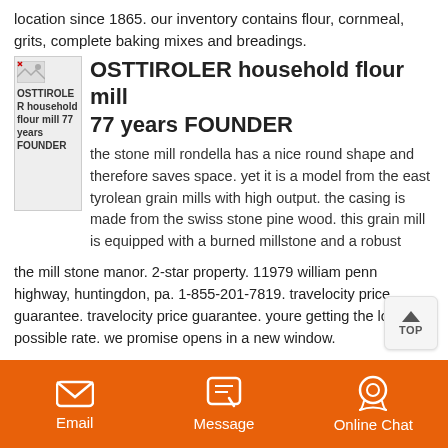location since 1865. our inventory contains flour, cornmeal, grits, complete baking mixes and breadings.
[Figure (photo): Small image placeholder showing OSTTIROLER household flour mill logo/photo]
OSTTIROLER household flour mill
77 years FOUNDER
the stone mill rondella has a nice round shape and therefore saves space. yet it is a model from the east tyrolean grain mills with high output. the casing is made from the swiss stone pine wood. this grain mill is equipped with a burned millstone and a robust
the mill stone manor. 2-star property. 11979 william penn highway, huntingdon, pa. 1-855-201-7819. travelocity price guarantee. travelocity price guarantee. youre getting the lowest possible rate. we promise opens in a new window.
wholesale trader of atta chakki stone - 24. our product
Email   Message   Online Chat